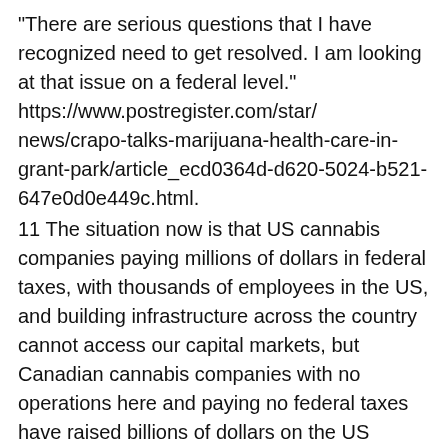“There are serious questions that I have recognized need to get resolved. I am looking at that issue on a federal level.” https://www.postregister.com/star/ news/crapo-talks-marijuana-health-care-in-grant-park/article_ecd0364d-d620-5024-b521-647e0d0e449c.html.
11 The situation now is that US cannabis companies paying millions of dollars in federal taxes, with thousands of employees in the US, and building infrastructure across the country cannot access our capital markets, but Canadian cannabis companies with no operations here and paying no federal taxes have raised billions of dollars on the US capital markets. See https://www.newcannabisventures.com/proposed-federal-legislation-could-open-major-exchanges-to-